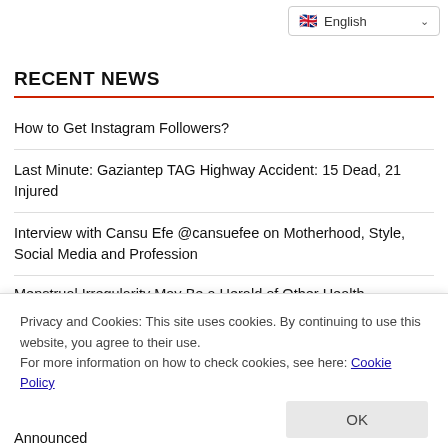English
RECENT NEWS
How to Get Instagram Followers?
Last Minute: Gaziantep TAG Highway Accident: 15 Dead, 21 Injured
Interview with Cansu Efe @cansuefee on Motherhood, Style, Social Media and Profession
Menstrual Irregularity May Be a Herald of Other Health
Privacy and Cookies: This site uses cookies. By continuing to use this website, you agree to their use.
For more information on how to check cookies, see here: Cookie Policy
Announced